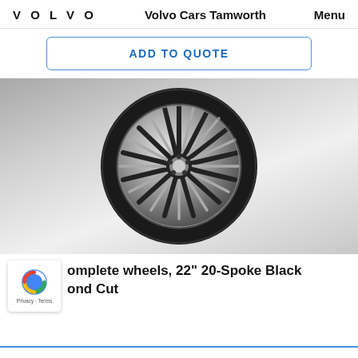VOLVO   Volvo Cars Tamworth   Menu
ADD TO QUOTE
[Figure (photo): Volvo 22-inch 20-Spoke Black Diamond Cut complete wheel with tire, shown on white/grey gradient background.]
omplete wheels, 22" 20-Spoke Black Diamond Cut